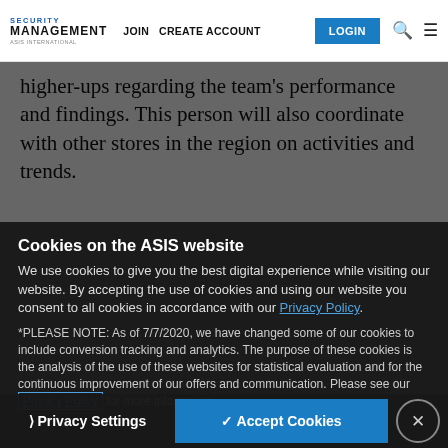SECURITY MANAGEMENT — JOIN   CREATE ACCOUNT   LOGIN
higher-ups regarding the team's performance and findings. This person will also coordinate with other stores in the region on activities and trends.
Cookies on the ASIS website
We use cookies to give you the best digital experience while visiting our website. By accepting the use of cookies and using our website you consent to all cookies in accordance with our Privacy Policy.
*PLEASE NOTE: As of 7/7/2020, we have changed some of our cookies to include conversion tracking and analytics. The purpose of these cookies is the analysis of the use of these websites for statistical evaluation and for the continuous improvement of our offers and communication. Please see our Privacy Policy for more information.
❯ Privacy Settings   ✓ Accept Cookies